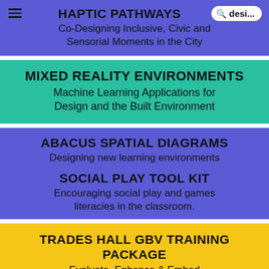HAPTIC PATHWAYS | desi...
HAPTIC PATHWAYS
Co-Designing Inclusive, Civic and Sensorial Moments in the City
MIXED REALITY ENVIRONMENTS
Machine Learning Applications for Design and the Built Environment
ABACUS SPATIAL DIAGRAMS
Designing new learning environments
SOCIAL PLAY TOOL KIT
Encouraging social play and games literacies in the classroom.
TRADES HALL GBV TRAINING PACKAGE
Evaluate, Enhance & Embed
PLAYFUL RESISTANCE
Finding Creative Pathways of